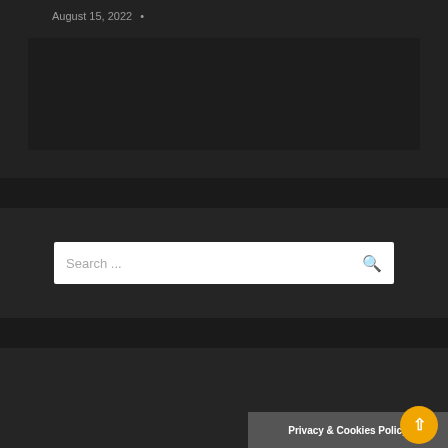August 15, 2022 •
[Figure (screenshot): Dark content area placeholder below date]
[Figure (screenshot): Search bar with placeholder text 'Search ...' and search icon]
Latest News
Butler Rolls Back The Years To Claim CDC Title in Indi...
Privacy & Cookies Policy